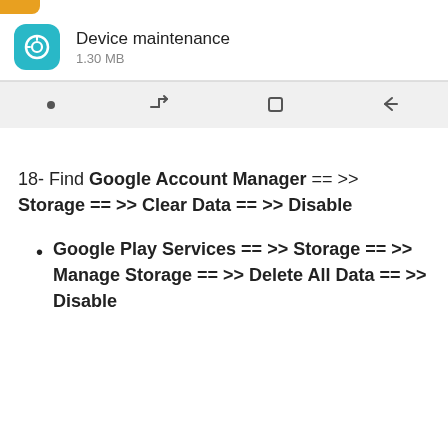[Figure (screenshot): Android device screenshot showing Device maintenance app entry (1.30 MB) and navigation bar with dot, menu, square, and back icons]
18- Find Google Account Manager == >> Storage == >> Clear Data == >> Disable
Google Play Services == >> Storage == >> Manage Storage == >> Delete All Data == >> Disable